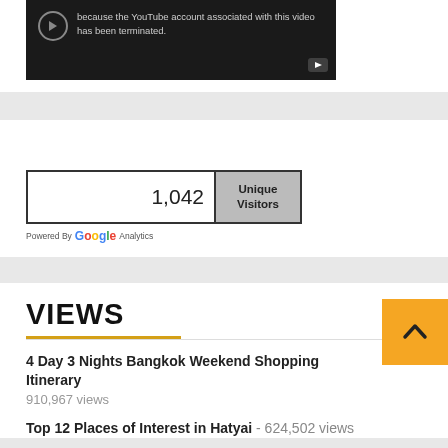[Figure (screenshot): YouTube video embed showing error message: the YouTube account associated with this video has been terminated. Dark background with YouTube play button icon.]
[Figure (screenshot): Google Analytics unique visitors widget showing 1,042 unique visitors. Powered By Google Analytics logo below.]
VIEWS
4 Day 3 Nights Bangkok Weekend Shopping Itinerary
910,967 views
Top 12 Places of Interest in Hatyai - 624,502 views